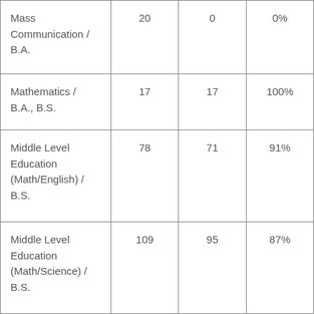| Mass Communication / B.A. | 20 | 0 | 0% |
| Mathematics / B.A., B.S. | 17 | 17 | 100% |
| Middle Level Education (Math/English) / B.S. | 78 | 71 | 91% |
| Middle Level Education (Math/Science) / B.S. | 109 | 95 | 87% |